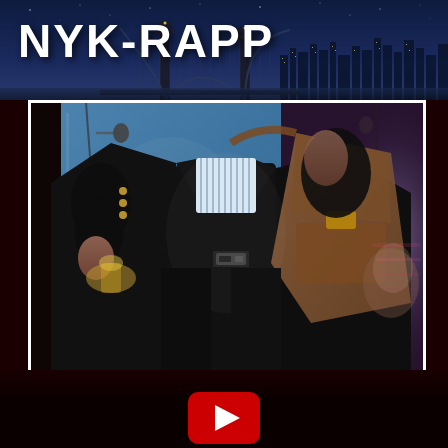NYK-RAPP
[Figure (photo): Photo of a person wearing a dark blazer over a striped shirt with a messenger bag, appearing to be at a public event or presentation. Background shows a blue display screen.]
[Figure (other): YouTube play button (red rounded rectangle with white triangle play icon) partially visible at bottom center of page.]